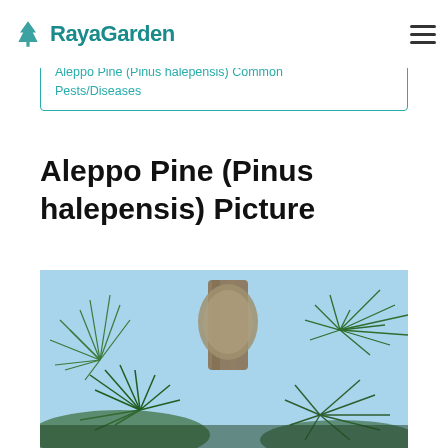RayaGarden
Aleppo Pine (Pinus halepensis) Common Pests/Diseases
Aleppo Pine (Pinus halepensis) Picture
[Figure (photo): Close-up photograph of an Aleppo Pine (Pinus halepensis) showing pine needles, branches, and what appears to be a large nest or pine cone structure visible among the green needles against a blue sky background.]